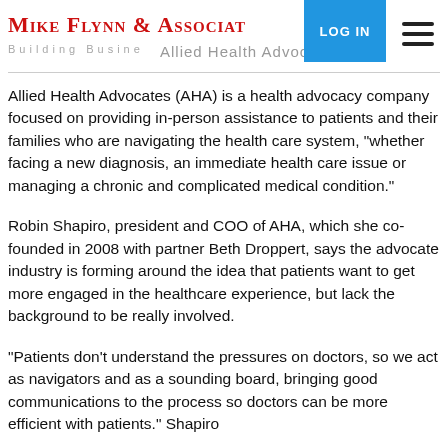MIKE FLYNN & ASSOCIATES — Building Business — Allied Health Advocates
Allied Health Advocates (AHA) is a health advocacy company focused on providing in-person assistance to patients and their families who are navigating the health care system, "whether facing a new diagnosis, an immediate health care issue or managing a chronic and complicated medical condition."
Robin Shapiro, president and COO of AHA, which she co-founded in 2008 with partner Beth Droppert, says the advocate industry is forming around the idea that patients want to get more engaged in the healthcare experience, but lack the background to be really involved.
"Patients don't understand the pressures on doctors, so we act as navigators and as a sounding board, bringing good communications to the process so doctors can be more efficient with patients." Shapiro